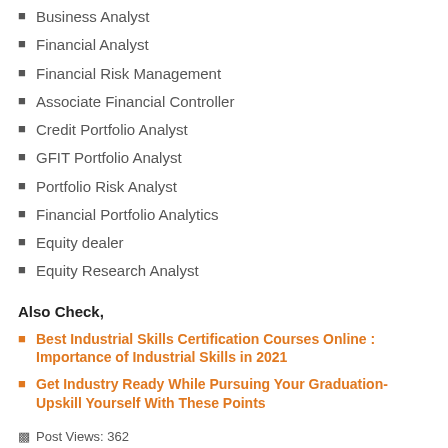Business Analyst
Financial Analyst
Financial Risk Management
Associate Financial Controller
Credit Portfolio Analyst
GFIT Portfolio Analyst
Portfolio Risk Analyst
Financial Portfolio Analytics
Equity dealer
Equity Research Analyst
Also Check,
Best Industrial Skills Certification Courses Online : Importance of Industrial Skills in 2021
Get Industry Ready While Pursuing Your Graduation- Upskill Yourself With These Points
Post Views: 362